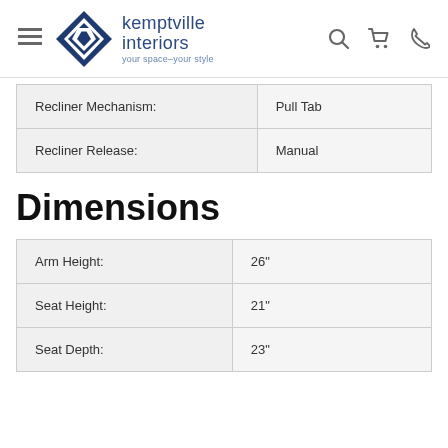Kemptville Interiors — your space–your style
| Property | Value |
| --- | --- |
| Recliner Mechanism: | Pull Tab |
| Recliner Release: | Manual |
Dimensions
| Dimension | Value |
| --- | --- |
| Arm Height: | 26" |
| Seat Height: | 21" |
| Seat Depth: | 23" |